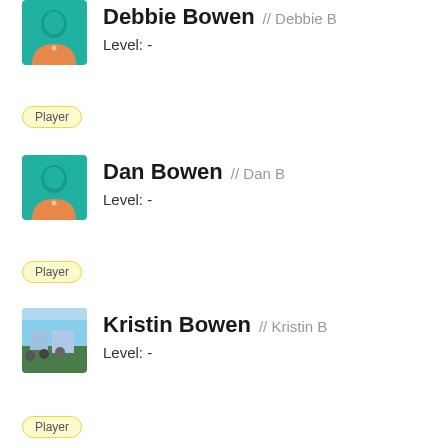[Figure (illustration): Default avatar icon with teal head and orange shirt for Debbie Bowen]
Debbie Bowen // Debbie B
Level: -
Player
[Figure (illustration): Default avatar icon with teal head and orange shirt for Dan Bowen]
Dan Bowen // Dan B
Level: -
Player
[Figure (photo): Outdoor photo of people near water for Kristin Bowen]
Kristin Bowen // Kristin B
Level: -
Player